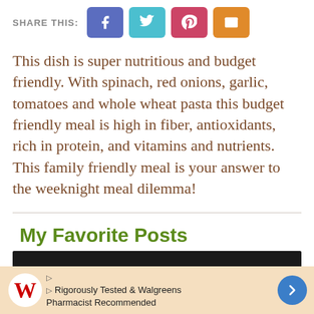SHARE THIS:
[Figure (infographic): Social share buttons: Facebook (blue-purple), Twitter (teal), Pinterest (pink-red), Email (orange)]
This dish is super nutritious and budget friendly. With spinach, red onions, garlic, tomatoes and whole wheat pasta this budget friendly meal is high in fiber, antioxidants, rich in protein, and vitamins and nutrients. This family friendly meal is your answer to the weeknight meal dilemma!
My Favorite Posts
[Figure (photo): Dark/black image bar at top of My Favorite Posts section]
Rigorously Tested & Walgreens Pharmacist Recommended